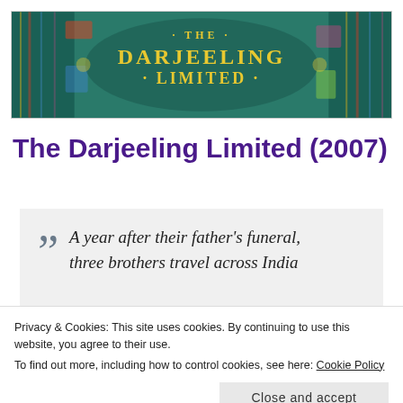[Figure (illustration): Banner image for The Darjeeling Limited film with colorful decorative patterns and the title text '- THE - DARJEELING - LIMITED -' in yellow/gold lettering on a teal/green background]
The Darjeeling Limited (2007)
A year after their father's funeral, three brothers travel across India by train in an attempt to bond with
Privacy & Cookies: This site uses cookies. By continuing to use this website, you agree to their use.
To find out more, including how to control cookies, see here: Cookie Policy
to expect that from Wes Anderson, but I think this one felt